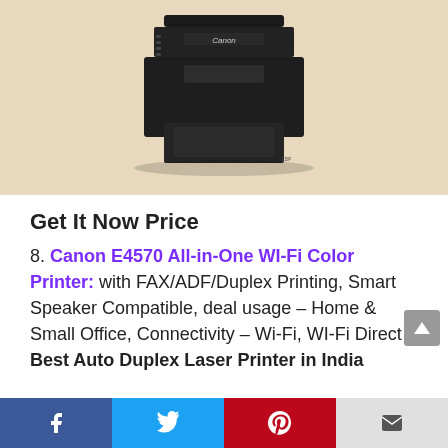[Figure (photo): Canon black inkjet printer on a beige/tan background]
Get It Now Price
8. Canon E4570 All-in-One WI-Fi Color Printer: with FAX/ADF/Duplex Printing, Smart Speaker Compatible, deal usage – Home & Small Office, Connectivity – Wi-Fi, WI-Fi Direct Best Auto Duplex Laser Printer in India
[Figure (infographic): Social share bar with Facebook, Twitter, Pinterest, and Email icons]